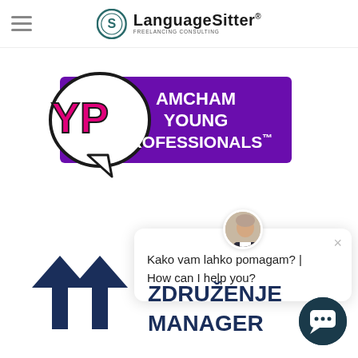LanguageSitter®
[Figure (logo): AmCham Young Professionals logo — speech bubble with 'YP' in pink on purple background, text 'AMCHAM YOUNG PROFESSIONALS™']
[Figure (screenshot): Chat popup with avatar photo, close button (×), and text 'Kako vam lahko pomagam? | How can I help you?']
[Figure (logo): Združenje Manager logo — dark blue M with upward arrows, bold text 'ZDRUŽENJE MANAGER']
[Figure (other): Chat widget circular dark button with speech bubble icon]